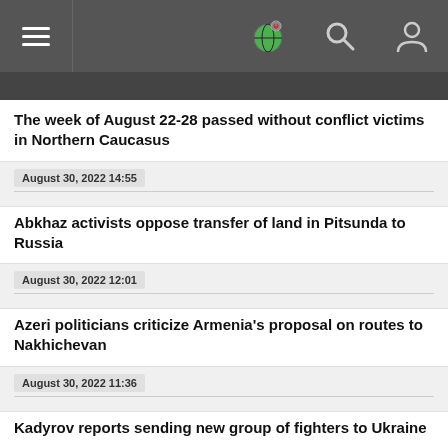Navigation header with hamburger menu and icons
The week of August 22-28 passed without conflict victims in Northern Caucasus
August 30, 2022 14:55
Abkhaz activists oppose transfer of land in Pitsunda to Russia
August 30, 2022 12:01
Azeri politicians criticize Armenia's proposal on routes to Nakhichevan
August 30, 2022 11:36
Kadyrov reports sending new group of fighters to Ukraine
August 30, 2022 11:16
Saakashvili's case aggravates Georgian authorities' foreign policy risks